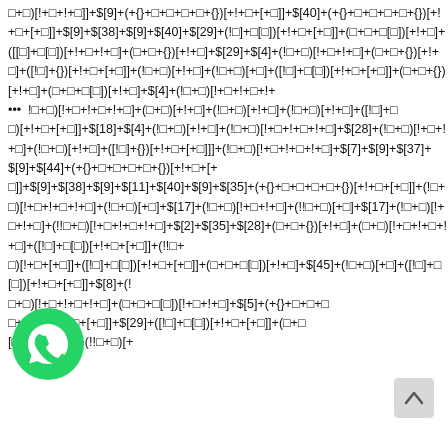□+□)[!+□+!+□]]+$[9]+(+{}+□+□+□+□+{})[+!+□+[+□]]+$[40]+(+{}+□+□+□+□+{})[+!+□+[+□]]+$[9]+$[38]+$[9]+$[40]+$[29]+(!□]+□[□])[+!+□+[+□]]+([[□]+□[□])[+!+□]+(□+□+□[□])[!+□+!+□]+(□+□+{})[+!+□]+$[29]+$[4]+(!□+□)[!+□+!+□]+(□+□+{})[+!+□]+([!□]+{})[+!+□+[+□]]+(!□+□)[+!+□]+(!□+□)[+□]+([!□]+□[□])[+!+□+[+□]]+(□+□+{})[+!+□]+(□+□+□[□])[+!+□]+$[4]+(!□+□)[!+□+!+□+!+□]+!□+□)[!+□+!+□+!+□]+(□+□)[+!+□]+(!□+□)[+!+□]+(!□+□)[+!+□]+([!□]+□[□])+{})[+!+□+[+□]]+$[18]+$[4]+(!□+□)[+!+□]+(!□+□)[!+□+!+□+!+□]+$[28]+(!□+□)[!+□+!+□]+(!□+□)[+!+□]+([!□]+{})[+!+□+[+□]]]+(!□+□)[!+□+!+□+!+□]+$[7]+$[9]+$[37]+$[9]+$[44]+(+{}+□+□+□+□+{})[+!+□+[+□]]+$[9]+$[38]+$[9]+$[11]+$[40]+$[9]+$[35]+(+{}+□+□+□+□+{})[+!+□+[+□]]+(!□+□)[!+□+!+□+!+□]+(!□+□)[+□]+$[17]+(!□+□)[!+□+!+□]+(!!□+□)[!+□+!+□+!+□]+$[2]+$[35]+$[28]+(□+□+{})[+!+□]+(□+□)[!+□+!+□+!+□]+([!□]+□[□])[+!+□+[+□]]+(!!□+□)[!+□+[+□]]+(!□]+□[□])[+!+□+[+□]]+(□+□+□[□])[+!+□]+$[45]+(!□+□)[+□]+([!□]+□[□])[+!+□+[+□]]+$[8]+(!□+□)[!+□+!+□+!+□]+(□+□+□[□])[!+□+!+□]+$[5]+(+{}+□+□+□+{})[+!+□+[+□]]+$[29]+([!□]+□[□])[+!+□+[+□]]+(□+□[□])[!+□+!+□]+(!!□+□)[+
[Figure (illustration): WhatsApp messenger icon — green circle with white phone/chat bubble symbol]
[Figure (illustration): Scroll-to-top arrow button — light grey rounded rectangle with upward pointing caret]